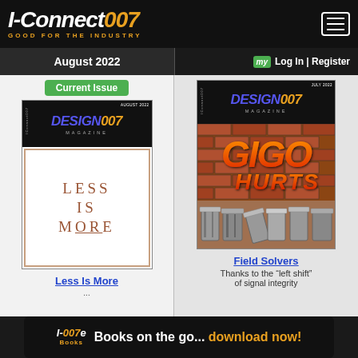[Figure (screenshot): IConnect007 website header with logo 'I-Connect007 GOOD FOR THE INDUSTRY' and hamburger menu]
I-Connect007 | GOOD FOR THE INDUSTRY
August 2022
Current Issue
[Figure (photo): Design007 Magazine August 2022 cover - 'Less Is More']
Less Is More
my  Log In | Register
[Figure (photo): Design007 Magazine July 2022 cover - 'GIGO HURTS' with trash cans]
Field Solvers
Thanks to the “left shift” of signal integrity
Books on the go... download now!